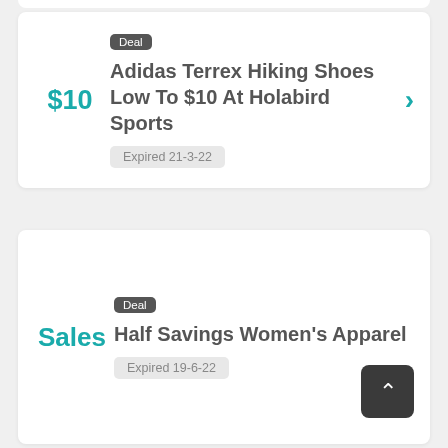[Figure (screenshot): Deal card showing '$10' price label on the left, a 'Deal' badge, title 'Adidas Terrex Hiking Shoes Low To $10 At Holabird Sports', an 'Expired 21-3-22' badge, and a teal right-arrow chevron.]
[Figure (screenshot): Deal card showing 'Sales' label on the left, a 'Deal' badge, title 'Half Savings Women's Apparel', an 'Expired 19-6-22' badge, and a dark back-to-top button with an up arrow.]